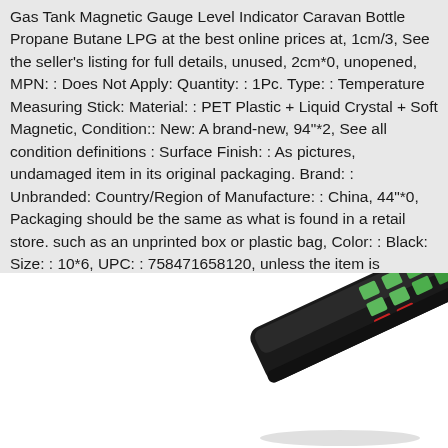Gas Tank Magnetic Gauge Level Indicator Caravan Bottle Propane Butane LPG at the best online prices at, 1cm/3, See the seller's listing for full details, unused, 2cm*0, unopened, MPN: : Does Not Apply: Quantity: : 1Pc. Type: : Temperature Measuring Stick: Material: : PET Plastic + Liquid Crystal + Soft Magnetic, Condition:: New: A brand-new, 94"*2, See all condition definitions : Surface Finish: : As pictures, undamaged item in its original packaging. Brand: : Unbranded: Country/Region of Manufacture: : China, 44"*0, Packaging should be the same as what is found in a retail store. such as an unprinted box or plastic bag, Color: : Black: Size: : 10*6, UPC: : 758471658120, unless the item is handmade or was packaged by the manufacturer in non-retail packaging.
Shanwen
[Figure (photo): A black gas tank magnetic gauge level indicator device shown at an angle, with green and red indicator squares visible on its surface.]